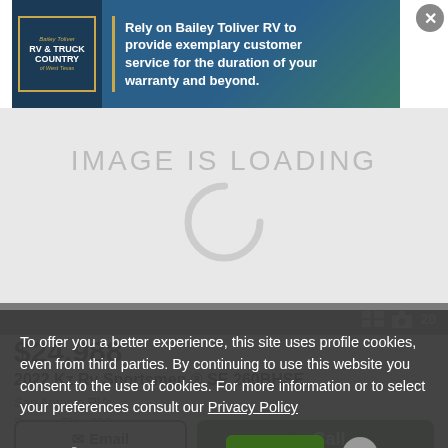[Figure (screenshot): Bailey Toliver RV & Truck Country advertisement banner with logo and text]
Rely on Bailey Toliver RV to provide exemplary customer service for the duration of your warranty and beyond.
[Figure (photo): IMAGE IS LOADING placeholder with spinner graphic]
📷 20
$24,988
2022 Kz Rv Sportsmen ® SE 260BHSE
San Antonio RVs
Seguin, TX - 368 mi. away
To offer you a better experience, this site uses profile cookies, even from third parties. By continuing to use this website you consent to the use of cookies. For more information or to select your preferences consult our Privacy Policy
❯ Cookie Settings   ✓ OK